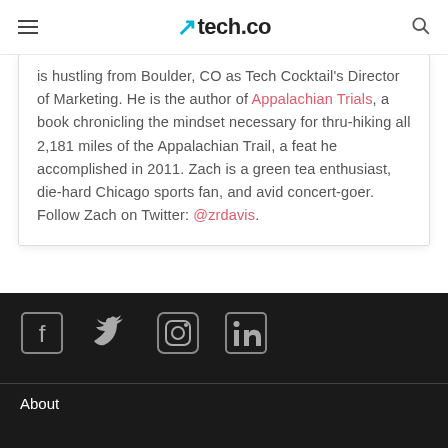tech.co
is hustling from Boulder, CO as Tech Cocktail's Director of Marketing. He is the author of Appalachian Trials, a book chronicling the mindset necessary for thru-hiking all 2,181 miles of the Appalachian Trail, a feat he accomplished in 2011. Zach is a green tea enthusiast, die-hard Chicago sports fan, and avid concert-goer. Follow Zach on Twitter: @zrdavis.
[Figure (other): Social media icons: Facebook, Twitter, Instagram, LinkedIn]
About